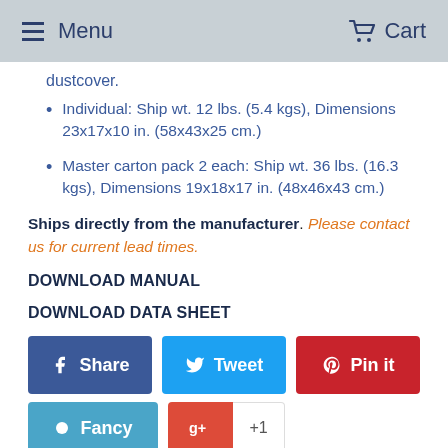Menu   Cart
dustcover.
Individual: Ship wt. 12 lbs. (5.4 kgs), Dimensions 23x17x10 in. (58x43x25 cm.)
Master carton pack 2 each: Ship wt. 36 lbs. (16.3 kgs), Dimensions 19x18x17 in. (48x46x43 cm.)
Ships directly from the manufacturer. Please contact us for current lead times.
DOWNLOAD MANUAL
DOWNLOAD DATA SHEET
[Figure (other): Social sharing buttons: Share (Facebook), Tweet (Twitter), Pin it (Pinterest), Fancy, Google+ +1]